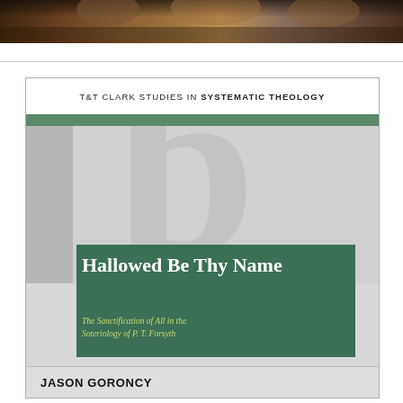[Figure (illustration): Top partial image of a painting or artwork with warm brown and golden tones, cropped at the top of the page]
[Figure (illustration): Book cover for 'Hallowed Be Thy Name: The Sanctification of All in the Soteriology of P. T. Forsyth' by Jason Goroncy. Part of the T&T Clark Studies in Systematic Theology series. Cover features a grey background with a large watermark-style letter, a green band, a dark green title box with white and yellow-green text, and a light grey author bar at the bottom.]
T&T CLARK STUDIES IN SYSTEMATIC THEOLOGY
Hallowed Be Thy Name
The Sanctification of All in the Soteriology of P. T. Forsyth
JASON GORONCY